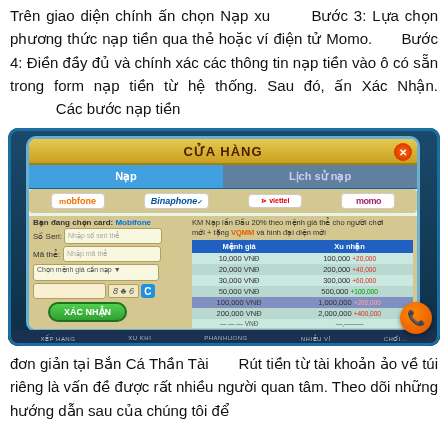Trên giao diện chính ấn chọn Nạp Xu  Bước 3: Lựa chọn phương thức nạp tiền qua thẻ hoặc ví điện tử Momo.  Bước 4: Điền đầy đủ và chính xác các thông tin nạp tiền vào ô có sẵn trong form nạp tiền từ hệ thống. Sau đó, ấn Xác Nhận.  Các bước nạp tiền
[Figure (screenshot): Screenshot of a game store (CỬA HÀNG) dialog showing card top-up interface with Mobifone, Vinaphone, Viettel, Momo payment options, form fields for card serial and code, denomination selection table showing values from 10,000 VND to 200,000 VND with corresponding Xu rewards.]
đơn giản tại Bắn Cá Thần Tài  Rút tiền từ tài khoản ảo về túi riêng là vấn đề được rất nhiều người quan tâm. Theo dõi những hướng dẫn sau của chúng tôi để